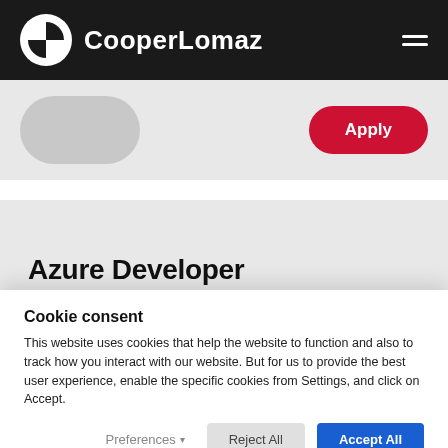CooperLomaz
[Figure (screenshot): Partial job listing card with avatar placeholder and red Apply button]
Azure Developer
Cookie consent
This website uses cookies that help the website to function and also to track how you interact with our website. But for us to provide the best user experience, enable the specific cookies from Settings, and click on Accept.
Preferences  Reject All  Accept All